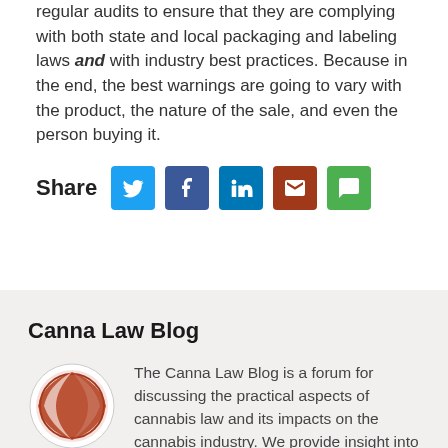regular audits to ensure that they are complying with both state and local packaging and labeling laws and with industry best practices. Because in the end, the best warnings are going to vary with the product, the nature of the sale, and even the person buying it.
Share [social media icons: Twitter, Facebook, LinkedIn, Email, SMS]
Canna Law Blog
The Canna Law Blog is a forum for discussing the practical aspects of cannabis law and its impacts on the cannabis industry. We provide insight into how cannabis businesspeople can use the law to their advantage and in plain language we tell you